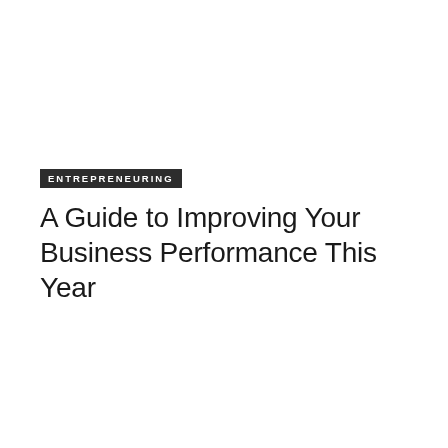ENTREPRENEURING
A Guide to Improving Your Business Performance This Year